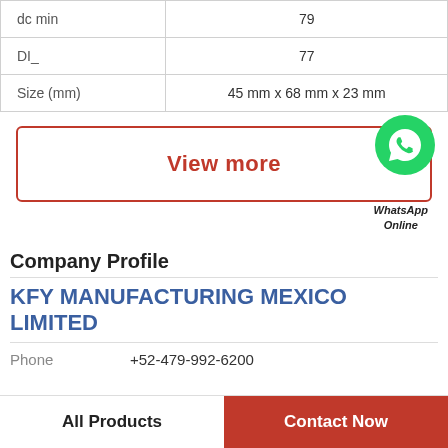| Parameter | Value |
| --- | --- |
| dc min | 79 |
| DI_ | 77 |
| Size (mm) | 45 mm x 68 mm x 23 mm |
[Figure (other): View more button with WhatsApp icon and label]
Company Profile
KFY MANUFACTURING MEXICO LIMITED
Phone  +52-479-992-6200
All Products   Contact Now